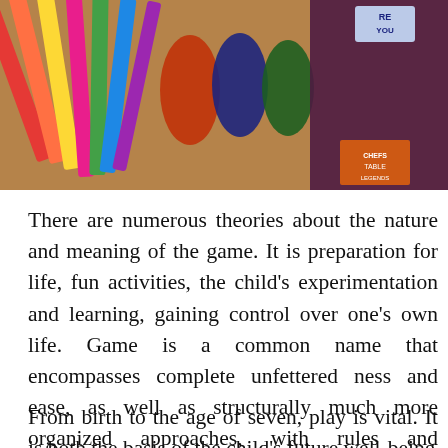[Figure (photo): A colorful photo of children's crayons, toy figurines (dinosaurs, animals), and colorful objects arranged on a wooden table surface. Visible on the right side are book covers and colorful images.]
There are numerous theories about the nature and meaning of the game. It is preparation for life, fun activities, the child's experimentation and learning, gaining control over one's own life. Game is a common name that encompasses complete unfettered ness and ease, as well as structurally much more organized approaches, with rules and regulations that are the essence of social games.
From birth to the age of seven, play is vital. It is both the basis of the child's future well-being